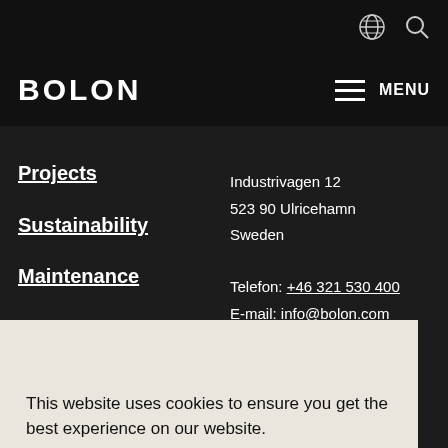BOLON — website navigation header with globe and search icons, hamburger MENU
Projects
Sustainability
Maintenance
Support
Industrivagen 12
523 90 Ulricehamn
Sweden

Telefon: +46 321 530 400
E-mail: info@bolon.com
This website uses cookies to ensure you get the best experience on our website.
Learn more
Got it!